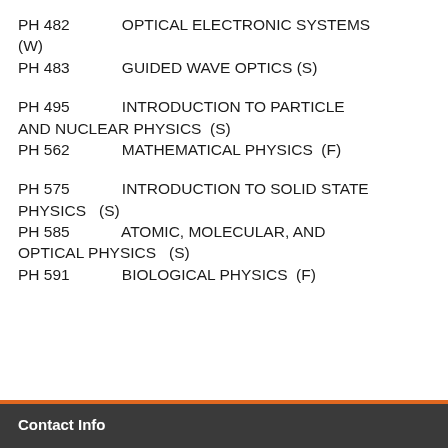PH 482   OPTICAL ELECTRONIC SYSTEMS (W)
PH 483   GUIDED WAVE OPTICS (S)
PH 495   INTRODUCTION TO PARTICLE AND NUCLEAR PHYSICS  (S)
PH 562   MATHEMATICAL PHYSICS  (F)
PH 575   INTRODUCTION TO SOLID STATE PHYSICS  (S)
PH 585   ATOMIC, MOLECULAR, AND OPTICAL PHYSICS  (S)
PH 591   BIOLOGICAL PHYSICS  (F)
Contact Info